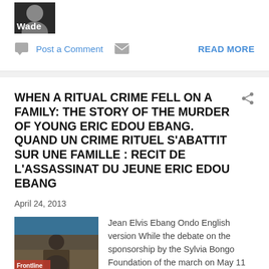[Figure (photo): Cropped photo of a person labeled 'Wade' on dark background]
Post a Comment   READ MORE
WHEN A RITUAL CRIME FELL ON A FAMILY: THE STORY OF THE MURDER OF YOUNG ERIC EDOU EBANG. QUAND UN CRIME RITUEL S'ABATTIT SUR UNE FAMILLE : RECIT DE L'ASSASSINAT DU JEUNE ERIC EDOU EBANG
April 24, 2013
[Figure (photo): Photo of Jean Elvis Ebang Ondo speaking at a podium with Frontline banner visible]
Jean Elvis Ebang Ondo English version While the debate on the sponsorship by the Sylvia Bongo Foundation of the march on May 11 against ritual crimes continues to